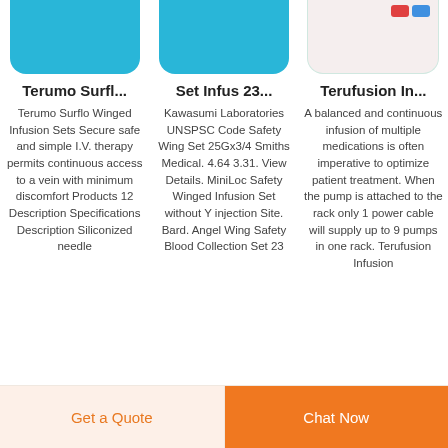[Figure (photo): Product image of Terumo Surflo winged infusion set on blue background]
[Figure (photo): Product image of Set Infus 23 winged infusion set on blue background]
[Figure (photo): Product image of Terufusion infusion pump on light background with red/blue details]
Terumo Surfl...
Set Infus 23...
Terufusion In...
Terumo Surflo Winged Infusion Sets Secure safe and simple I.V. therapy permits continuous access to a vein with minimum discomfort Products 12 Description Specifications Description Siliconized needle
Kawasumi Laboratories UNSPSC Code Safety Wing Set 25Gx3/4 Smiths Medical. 4.64 3.31. View Details. MiniLoc Safety Winged Infusion Set without Y injection Site. Bard. Angel Wing Safety Blood Collection Set 23
A balanced and continuous infusion of multiple medications is often imperative to optimize patient treatment. When the pump is attached to the rack only 1 power cable will supply up to 9 pumps in one rack. Terufusion Infusion
Get a Quote
Chat Now